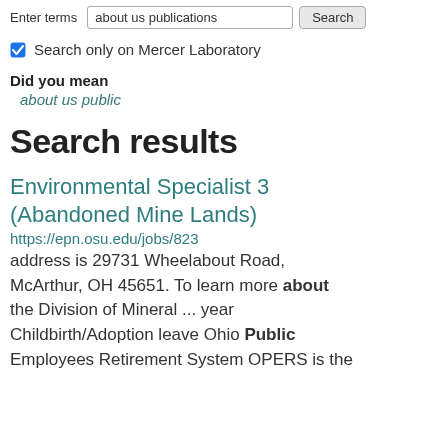Enter terms  about us publications  Search
Search only on Mercer Laboratory
Did you mean
about us public
Search results
Environmental Specialist 3 (Abandoned Mine Lands)
https://epn.osu.edu/jobs/823
address is 29731 Wheelabout Road, McArthur, OH 45651. To learn more about the Division of Mineral ... year Childbirth/Adoption leave Ohio Public Employees Retirement System OPERS is the